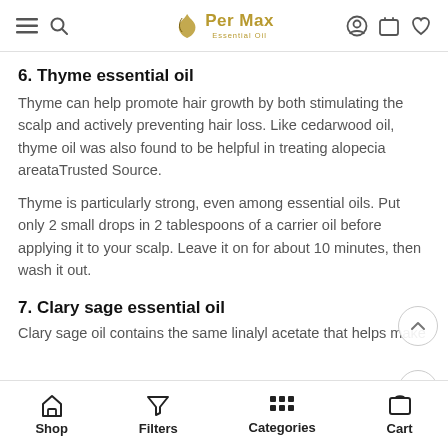PerMax Essential Oil - navigation bar
6. Thyme essential oil
Thyme can help promote hair growth by both stimulating the scalp and actively preventing hair loss. Like cedarwood oil, thyme oil was also found to be helpful in treating alopecia areataTrusted Source.
Thyme is particularly strong, even among essential oils. Put only 2 small drops in 2 tablespoons of a carrier oil before applying it to your scalp. Leave it on for about 10 minutes, then wash it out.
7. Clary sage essential oil
Clary sage oil contains the same linalyl acetate that helps make
Shop | Filters | Categories | Cart